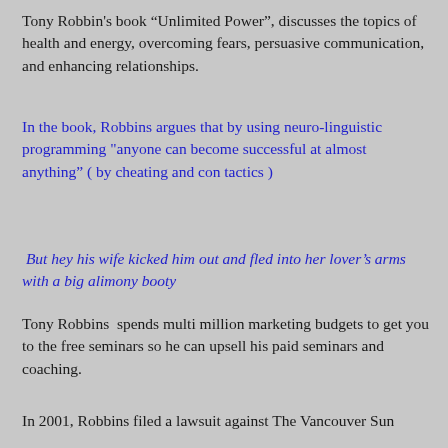Tony Robbin’s book “Unlimited Power”, discusses the topics of health and energy, overcoming fears, persuasive communication, and enhancing relationships.
In the book, Robbins argues that by using neuro-linguistic programming "anyone can become successful at almost anything” ( by cheating and con tactics )
But hey his wife kicked him out and fled into her lover’s arms with a big alimony booty
Tony Robbins  spends multi million marketing budgets to get you to the free seminars so he can upsell his paid seminars and coaching.
In 2001, Robbins filed a lawsuit against The Vancouver Sun